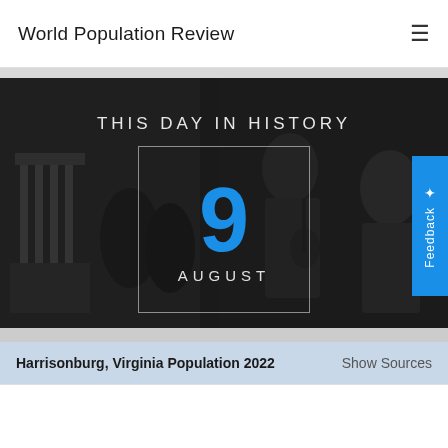World Population Review
[Figure (photo): Hero banner image showing 'THIS DAY IN HISTORY' with a large blue number 9 and 'AUGUST' text, overlaid on a dark grayscale montage background of historical scenes including the White House and people. A blue 'Feedback' tab appears on the right side.]
Harrisonburg, Virginia Population 2022
Show Sources